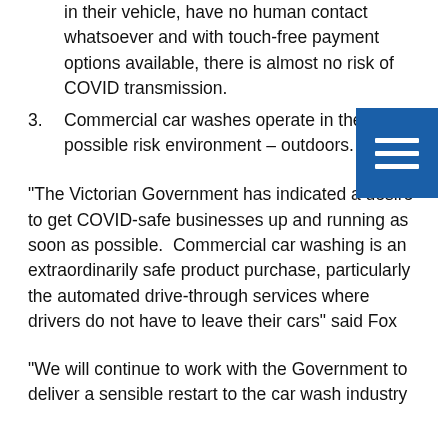in their vehicle, have no human contact whatsoever and with touch-free payment options available, there is almost no risk of COVID transmission.
3. Commercial car washes operate in the lowest possible risk environment – outdoors.
“The Victorian Government has indicated a desire to get COVID-safe businesses up and running as soon as possible.  Commercial car washing is an extraordinarily safe product purchase, particularly the automated drive-through services where drivers do not have to leave their cars” said Fox
“We will continue to work with the Government to deliver a sensible restart to the car wash industry